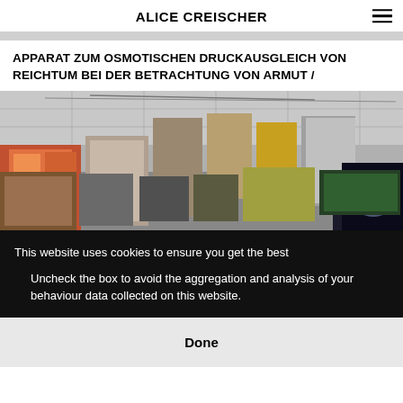ALICE CREISCHER
APPARAT ZUM OSMOTISCHEN DRUCKAUSGLEICH VON REICHTUM BEI DER BETRACHTUNG VON ARMUT /
[Figure (photo): Interior of an exhibition space with large hanging banners and posters, industrial ceiling with lighting tracks visible.]
This website uses cookies to ensure you get the best
Uncheck the box to avoid the aggregation and analysis of your behaviour data collected on this website.
Done